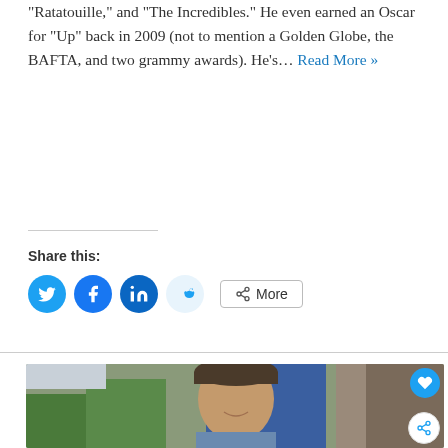“Ratatouille,” and “The Incredibles.” He even earned an Oscar for “Up” back in 2009 (not to mention a Golden Globe, the BAFTA, and two grammy awards). He’s… Read More »
Share this:
[Figure (illustration): Social share buttons: Twitter, Facebook, LinkedIn, Reddit circles, and a More button]
[Figure (photo): A man wearing a dark baseball cap and blue scarf, smiling outdoors near trees and green plants, with a blue background.]